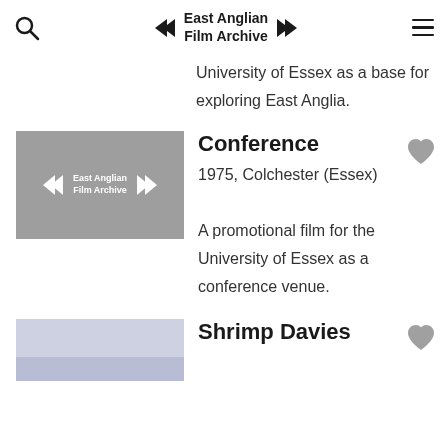East Anglian Film Archive
University of Essex as a base for exploring East Anglia.
[Figure (logo): East Anglian Film Archive logo placeholder thumbnail — grey rectangle with rewind/fast-forward arrows and archive name in white text]
Conference
1975, Colchester (Essex)
A promotional film for the University of Essex as a conference venue.
[Figure (photo): Partial thumbnail photo — pale blue/grey sky or seascape]
Shrimp Davies